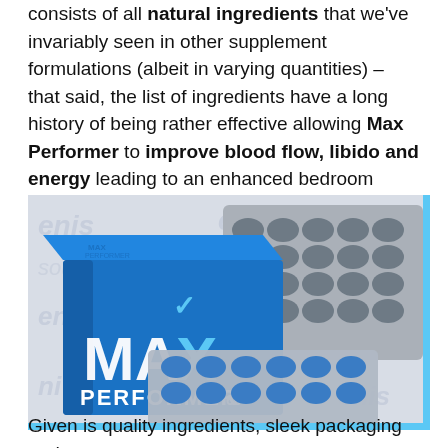consists of all natural ingredients that we've invariably seen in other supplement formulations (albeit in varying quantities) – that said, the list of ingredients have a long history of being rather effective allowing Max Performer to improve blood flow, libido and energy leading to an enhanced bedroom experience.
[Figure (photo): Photo of Max Performer supplement product box (blue) with blister packs of capsules on a surface with watermarked background text.]
Given is quality ingredients, sleek packaging and